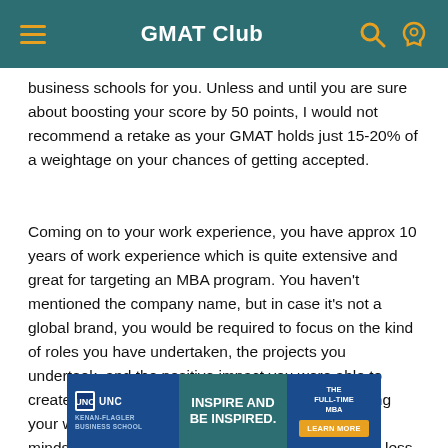GMAT Club
business schools for you. Unless and until you are sure about boosting your score by 50 points, I would not recommend a retake as your GMAT holds just 15-20% of a weightage on your chances of getting accepted.
Coming on to your work experience, you have approx 10 years of work experience which is quite extensive and great for targeting an MBA program. You haven't mentioned the company name, but in case it's not a global brand, you would be required to focus on the kind of roles you have undertaken, the projects you undertook, and the positive impact you were able to create during your stint. Thus, effectively showcasing your work experience can help you establish in the minds of the admission's committee that you are no less than your
[Figure (infographic): UNC Kenan-Flagler Business School advertisement banner: blue background with UNC logo, text 'INSPIRE AND BE INSPIRED.' and 'THE FULL-TIME MBA' with a 'LEARN MORE' button]